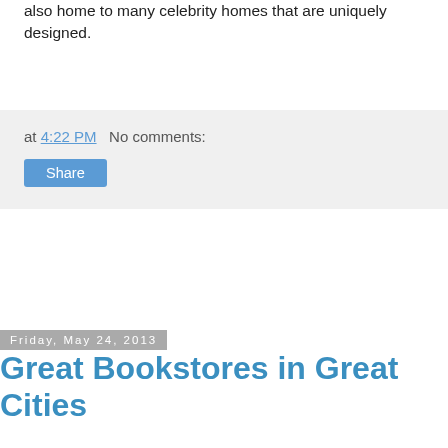also home to many celebrity homes that are uniquely designed.
at 4:22 PM   No comments:
Share
Friday, May 24, 2013
Great Bookstores in Great Cities
Some people go on vacation to the beach, some go to ski resorts. Some people same beers from cities all over the United States and some will go to taste the wine. If you love books and book stores, your ideal vacation might include visiting bookstores all over the country. Fortunately, there are phenomenal bookstores in big cities and little towns all over the country and each book store has its own personality. You will not be disappointed visiting some of the best bookstores in the United States.
The best bookstores in the United States do not include the